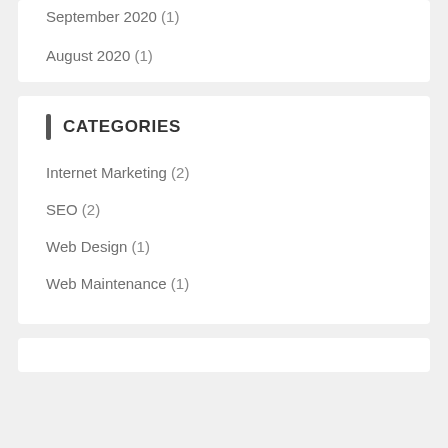September 2020 (1)
August 2020 (1)
CATEGORIES
Internet Marketing (2)
SEO (2)
Web Design (1)
Web Maintenance (1)